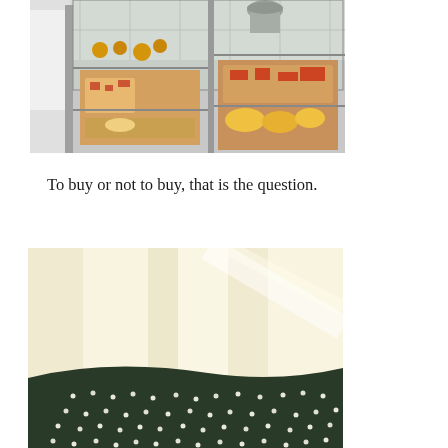[Figure (photo): A bakery or deli display case viewed from an angle, showing various baked goods and pizza slices arranged on trays. A person in white clothing is visible on the left, and kitchen equipment including what appears to be a pot is visible in the background. The display case has glass panels and metal framing.]
To buy or not to buy, that is the question.
[Figure (photo): A close-up photograph of what appears to be a dark green or black beaded/sequined fabric or garment, set against a pale cream/yellow background. The fabric has a dotted or pearl-like texture pattern. The image is taken at an angle.]